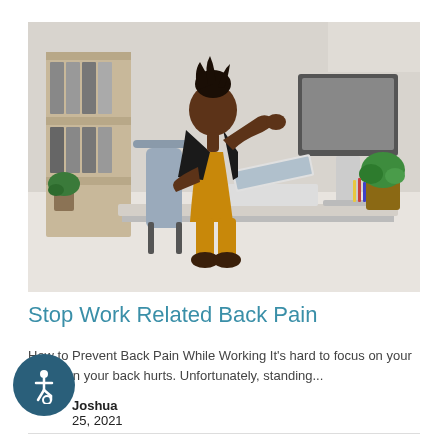[Figure (photo): A woman sitting at a desk in an office, turning to grab her back/shoulder with one hand, reaching toward her neck/back in pain. She is wearing a black top and yellow/mustard dress. A computer monitor, laptop, and plant are visible on the desk. Shelves with binders are in the background.]
Stop Work Related Back Pain
How to Prevent Back Pain While Working It's hard to focus on your job when your back hurts. Unfortunately, standing...
Joshua
25, 2021